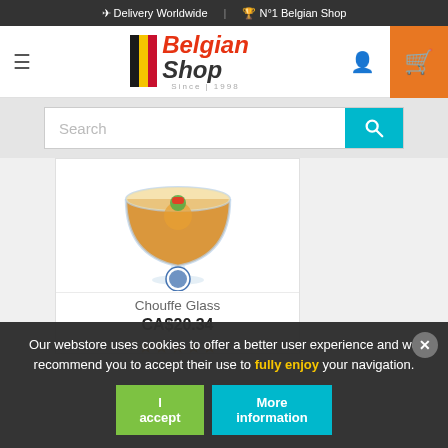✈ Delivery Worldwide | 🏆 N°1 Belgian Shop
[Figure (logo): Belgian Shop logo with Belgian flag stripes and red italic text]
Search
[Figure (photo): Chouffe beer glass filled with amber beer, featuring the Chouffe gnome character, with a circular Chouffe logo badge]
Chouffe Glass
CA$20.34
★★★★★
Our webstore uses cookies to offer a better user experience and we recommend you to accept their use to fully enjoy your navigation.